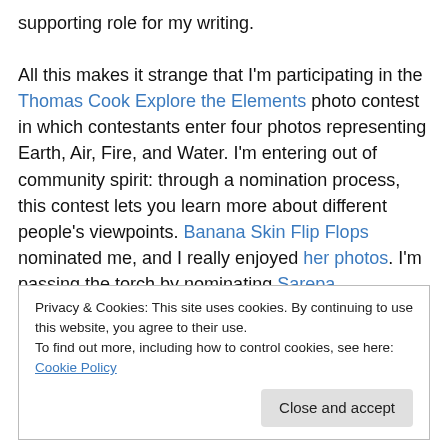supporting role for my writing.

All this makes it strange that I'm participating in the Thomas Cook Explore the Elements photo contest in which contestants enter four photos representing Earth, Air, Fire, and Water. I'm entering out of community spirit: through a nomination process, this contest lets you learn more about different people's viewpoints. Banana Skin Flip Flops nominated me, and I really enjoyed her photos. I'm passing the torch by nominating Sarepa, Everywhere All the Time, All Over the Map, An Adventure Abroad,
Privacy & Cookies: This site uses cookies. By continuing to use this website, you agree to their use.
To find out more, including how to control cookies, see here: Cookie Policy
Close and accept